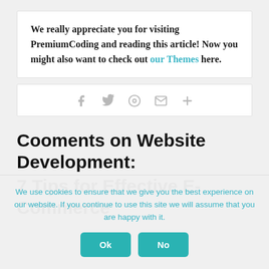We really appreciate you for visiting PremiumCoding and reading this article! Now you might also want to check out our Themes here.
[Figure (other): Social share icons: Facebook, Twitter, Pinterest, Email, More]
Cooments on Website Development: 7 Tips for Effective E-Commerce
We use cookies to ensure that we give you the best experience on our website. If you continue to use this site we will assume that you are happy with it.